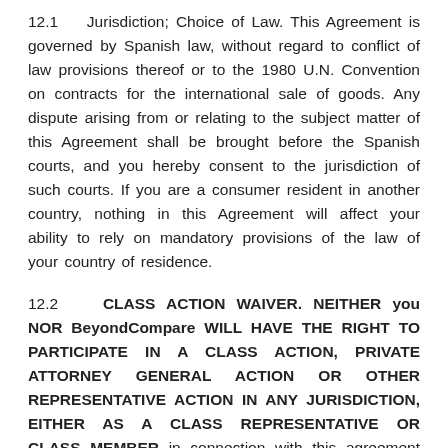12.1    Jurisdiction; Choice of Law. This Agreement is governed by Spanish law, without regard to conflict of law provisions thereof or to the 1980 U.N. Convention on contracts for the international sale of goods. Any dispute arising from or relating to the subject matter of this Agreement shall be brought before the Spanish courts, and you hereby consent to the jurisdiction of such courts. If you are a consumer resident in another country, nothing in this Agreement will affect your ability to rely on mandatory provisions of the law of your country of residence.
12.2    CLASS ACTION WAIVER. NEITHER you NOR BeyondCompare WILL HAVE THE RIGHT TO PARTICIPATE IN A CLASS ACTION, PRIVATE ATTORNEY GENERAL ACTION OR OTHER REPRESENTATIVE ACTION IN ANY JURISDICTION, EITHER AS A CLASS REPRESENTATIVE OR CLASS MEMBER in connection with this agreement or the website.